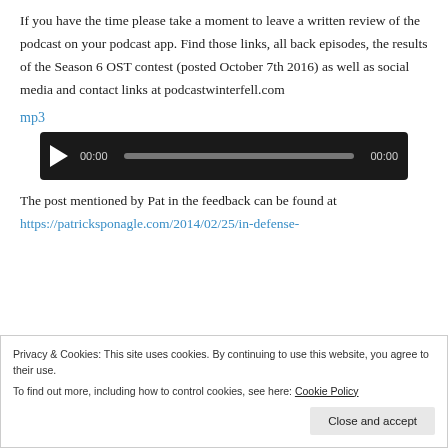If you have the time please take a moment to leave a written review of the podcast on your podcast app. Find those links, all back episodes, the results of the Season 6 OST contest (posted October 7th 2016) as well as social media and contact links at podcastwinterfell.com
mp3
[Figure (other): Audio player widget with play button, timestamp 00:00, progress bar, and end time 00:00 on dark background]
The post mentioned by Pat in the feedback can be found at https://patricksponagle.com/2014/02/25/in-defense-
Privacy & Cookies: This site uses cookies. By continuing to use this website, you agree to their use.
To find out more, including how to control cookies, see here: Cookie Policy
Close and accept